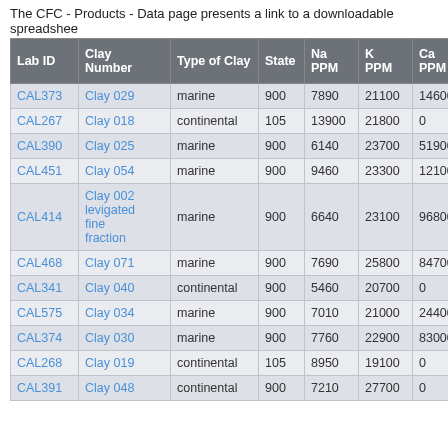The CFC - Products - Data page presents a link to a downloadable spreadshee
| Lab ID | Clay Number | Type of Clay | State | Na PPM | K PPM | Ca PPM |
| --- | --- | --- | --- | --- | --- | --- |
| CAL373 | Clay 029 | marine | 900 | 7890 | 21100 | 146000 |
| CAL267 | Clay 018 | continental | 105 | 13900 | 21800 | 0 |
| CAL390 | Clay 025 | marine | 900 | 6140 | 23700 | 51900 |
| CAL451 | Clay 054 | marine | 900 | 9460 | 23300 | 121000 |
| CAL414 | Clay 002 levigated fine fraction | marine | 900 | 6640 | 23100 | 96800 |
| CAL468 | Clay 071 | marine | 900 | 7690 | 25800 | 84700 |
| CAL341 | Clay 040 | continental | 900 | 5460 | 20700 | 0 |
| CAL575 | Clay 034 | marine | 900 | 7010 | 21000 | 244000 |
| CAL374 | Clay 030 | marine | 900 | 7760 | 22900 | 83000 |
| CAL268 | Clay 019 | continental | 105 | 8950 | 19100 | 0 |
| CAL391 | Clay 048 | continental | 900 | 7210 | 27700 | 0 |